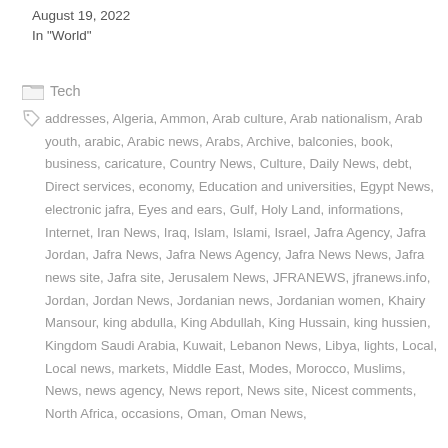August 19, 2022
In "World"
Tech
addresses, Algeria, Ammon, Arab culture, Arab nationalism, Arab youth, arabic, Arabic news, Arabs, Archive, balconies, book, business, caricature, Country News, Culture, Daily News, debt, Direct services, economy, Education and universities, Egypt News, electronic jafra, Eyes and ears, Gulf, Holy Land, informations, Internet, Iran News, Iraq, Islam, Islami, Israel, Jafra Agency, Jafra Jordan, Jafra News, Jafra News Agency, Jafra News News, Jafra news site, Jafra site, Jerusalem News, JFRANEWS, jfranews.info, Jordan, Jordan News, Jordanian news, Jordanian women, Khairy Mansour, king abdulla, King Abdullah, King Hussain, king hussien, Kingdom Saudi Arabia, Kuwait, Lebanon News, Libya, lights, Local, Local news, markets, Middle East, Modes, Morocco, Muslims, News, news agency, News report, News site, Nicest comments, North Africa, occasions, Oman, Oman News,